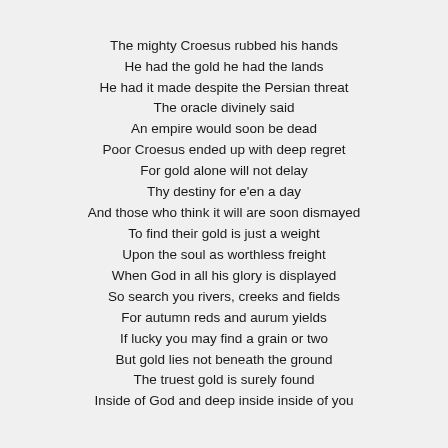The mighty Croesus rubbed his hands
He had the gold he had the lands
He had it made despite the Persian threat
The oracle divinely said
An empire would soon be dead
Poor Croesus ended up with deep regret
For gold alone will not delay
Thy destiny for e'en a day
And those who think it will are soon dismayed
To find their gold is just a weight
Upon the soul as worthless freight
When God in all his glory is displayed
So search you rivers, creeks and fields
For autumn reds and aurum yields
If lucky you may find a grain or two
But gold lies not beneath the ground
The truest gold is surely found
Inside of God and deep inside inside of you